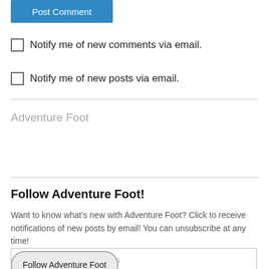[Figure (screenshot): Post Comment blue button at top of page]
Notify me of new comments via email.
Notify me of new posts via email.
Adventure Foot
Follow Adventure Foot!
Want to know what's new with Adventure Foot? Click to receive notifications of new posts by email! You can unsubscribe at any time!
Enter your email address
Follow Adventure Foot